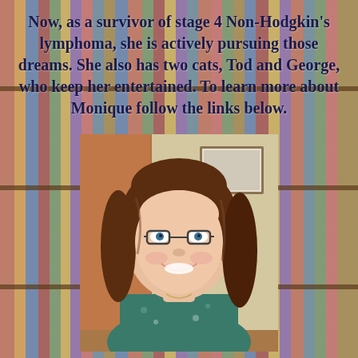Now, as a survivor of stage 4 Non-Hodgkin's lymphoma, she is actively pursuing those dreams. She also has two cats, Tod and George, who keep her entertained. To learn more about Monique follow the links below.
[Figure (photo): Portrait photo of a woman with long dark brown hair, wearing glasses and a teal/green floral top, smiling, with a bookshelf and door visible in the background.]